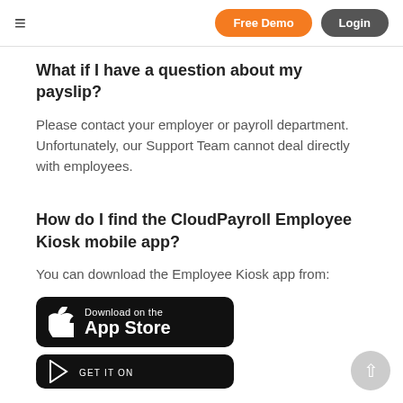≡   Free Demo   Login
What if I have a question about my payslip?
Please contact your employer or payroll department. Unfortunately, our Support Team cannot deal directly with employees.
How do I find the CloudPayroll Employee Kiosk mobile app?
You can download the Employee Kiosk app from:
[Figure (logo): Download on the App Store button (black rounded rectangle with Apple logo)]
[Figure (logo): GET IT ON Google Play button (partial, black rounded rectangle)]